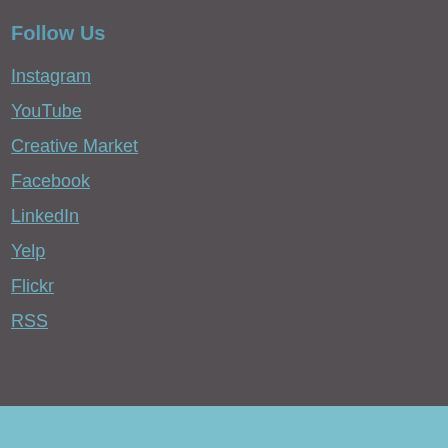Follow Us
Instagram
YouTube
Creative Market
Facebook
LinkedIn
Yelp
Flickr
RSS